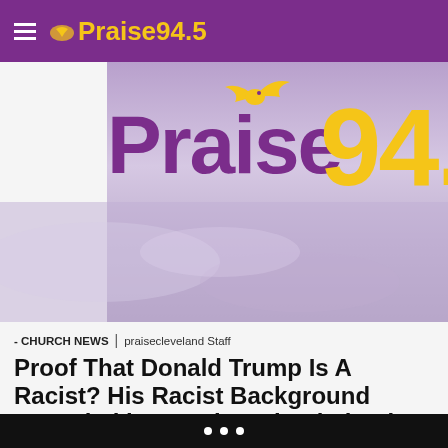Praise 94.5 navigation header
[Figure (photo): Praise 94.5 radio station banner with large purple 'Praise' text, yellow '94.5' numbers, and lavender cloud sky background]
- CHURCH NEWS | praisecleveland Staff
Proof That Donald Trump Is A Racist? His Racist Background Revealed in Housing Discrimination Lawsuits
Well, well, well.  It seems that President Obama still has a few friends in the media that are willing to, as the old folk say, tell the truth and shame the devil.  The devil being DonaldTrump in this instance.  It seems that